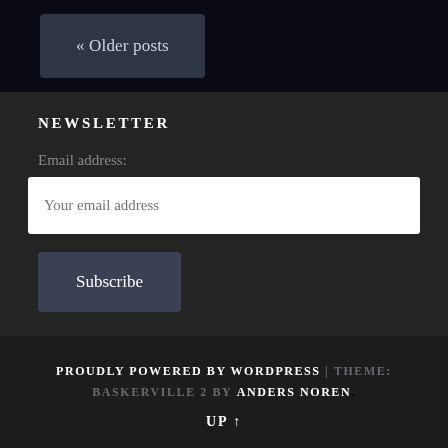« Older posts
NEWSLETTER
Email address:
Your email address
Subscribe
PROUDLY POWERED BY WORDPRESS | THEME: BASKERVILLE 2 BY ANDERS NOREN. UP ↑